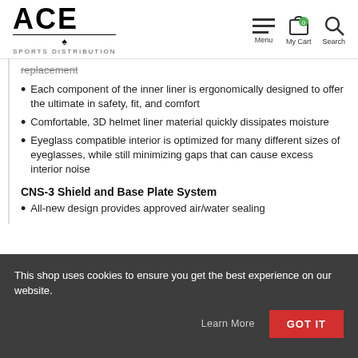ACE SPORTS DISTRIBUTION — Menu | My Cart | Search
replacement
Each component of the inner liner is ergonomically designed to offer the ultimate in safety, fit, and comfort
Comfortable, 3D helmet liner material quickly dissipates moisture
Eyeglass compatible interior is optimized for many different sizes of eyeglasses, while still minimizing gaps that can cause excess interior noise
CNS-3 Shield and Base Plate System
All-new design provides approved air/water sealing
This shop uses cookies to ensure you get the best experience on our website.